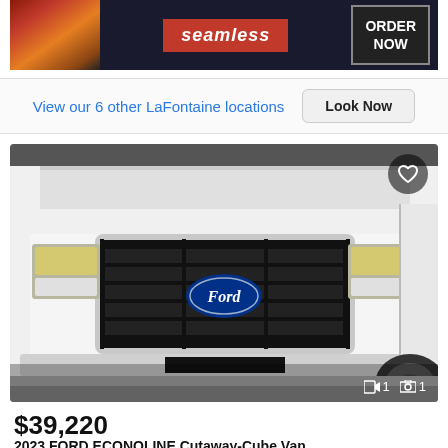[Figure (photo): Seamless food delivery advertisement banner with pizza image on left, Seamless logo in red center box, and ORDER NOW button on right with dark background]
View our 6 other LaFontaine locations    Look Now
[Figure (photo): 2023 Ford Econoline Cutaway-Cube Van front grille view in white, showing Ford oval logo on black grille with chrome surround, headlights on both sides. Heart/favorite icon in top right corner. Image count indicators showing 1 video and 1 photo at bottom right.]
$39,220
2023 FORD ECONOLINE Cutaway-Cube Van
5 miles
LaFontaine Ford of Birch Run - Website
Birch Run, MI - 439 mi. away